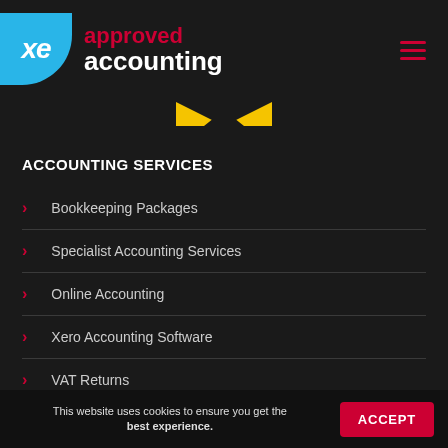[Figure (logo): XE Approved Accounting logo — blue circle with 'xe' in white italic on left, red 'approved' and white 'accounting' text on right, red hamburger menu icon top right]
[Figure (illustration): Yellow bowtie / downward chevron decorative element centered below header]
ACCOUNTING SERVICES
Bookkeeping Packages
Specialist Accounting Services
Online Accounting
Xero Accounting Software
VAT Returns
This website uses cookies to ensure you get the best experience.
ACCEPT